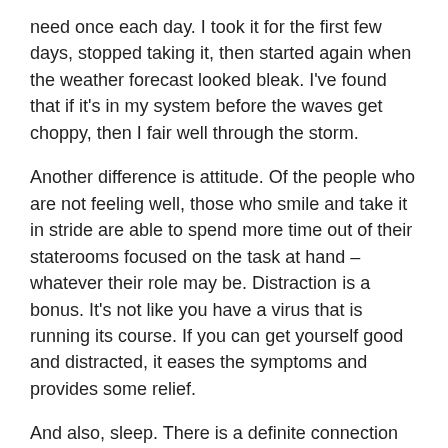need once each day. I took it for the first few days, stopped taking it, then started again when the weather forecast looked bleak. I've found that if it's in my system before the waves get choppy, then I fair well through the storm.
Another difference is attitude. Of the people who are not feeling well, those who smile and take it in stride are able to spend more time out of their staterooms focused on the task at hand – whatever their role may be. Distraction is a bonus. It's not like you have a virus that is running its course. If you can get yourself good and distracted, it eases the symptoms and provides some relief.
And also, sleep. There is a definite connection between quality of sleep and symptoms of sea sickness. I've seen a solid nap cure a couple people of their ails. Thankfully, due to a little bit of luck and a little bit of Bonine, the